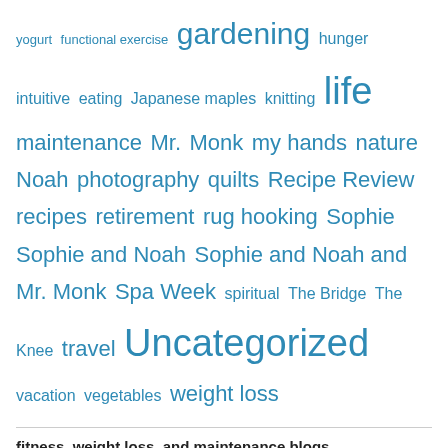yogurt functional exercise gardening hunger intuitive eating Japanese maples knitting life maintenance Mr. Monk my hands nature Noah photography quilts Recipe Review recipes retirement rug hooking Sophie Sophie and Noah Sophie and Noah and Mr. Monk Spa Week spiritual The Bridge The Knee travel Uncategorized vacation vegetables weight loss
fitness, weight loss, and maintenance blogs
Cammy
Debra
Ellen
Helen
Jill
laura n.